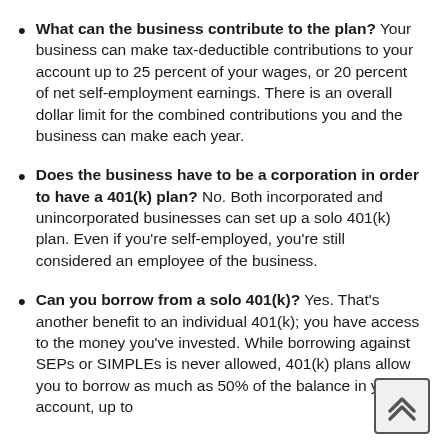What can the business contribute to the plan? Your business can make tax-deductible contributions to your account up to 25 percent of your wages, or 20 percent of net self-employment earnings. There is an overall dollar limit for the combined contributions you and the business can make each year.
Does the business have to be a corporation in order to have a 401(k) plan? No. Both incorporated and unincorporated businesses can set up a solo 401(k) plan. Even if you're self-employed, you're still considered an employee of the business.
Can you borrow from a solo 401(k)? Yes. That's another benefit to an individual 401(k); you have access to the money you've invested. While borrowing against SEPs or SIMPLEs is never allowed, 401(k) plans allow you to borrow as much as 50% of the balance in your account, up to